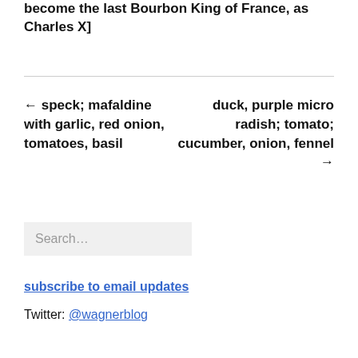become the last Bourbon King of France, as Charles X]
← speck; mafaldine with garlic, red onion, tomatoes, basil
duck, purple micro radish; tomato; cucumber, onion, fennel →
Search...
subscribe to email updates
Twitter: @wagnerblog